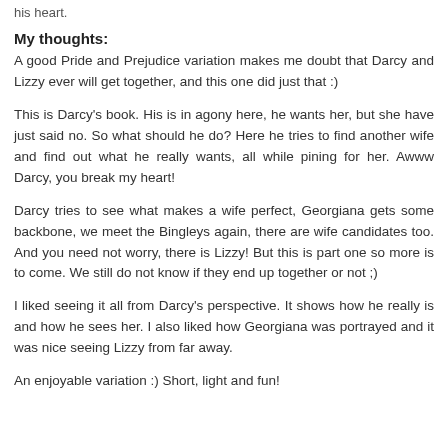his heart.
My thoughts:
A good Pride and Prejudice variation makes me doubt that Darcy and Lizzy ever will get together, and this one did just that :)
This is Darcy's book. His is in agony here, he wants her, but she have just said no. So what should he do? Here he tries to find another wife and find out what he really wants, all while pining for her. Awww Darcy, you break my heart!
Darcy tries to see what makes a wife perfect, Georgiana gets some backbone, we meet the Bingleys again, there are wife candidates too. And you need not worry, there is Lizzy! But this is part one so more is to come. We still do not know if they end up together or not ;)
I liked seeing it all from Darcy's perspective. It shows how he really is and how he sees her. I also liked how Georgiana was portrayed and it was nice seeing Lizzy from far away.
An enjoyable variation :) Short, light and fun!